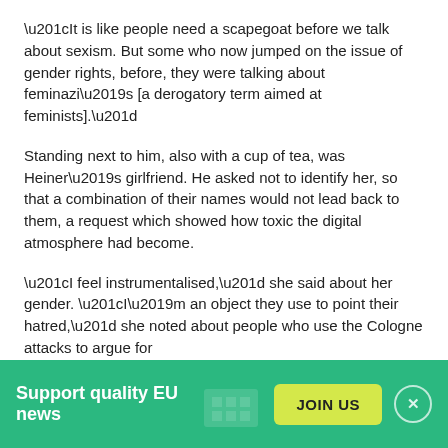“It is like people need a scapegoat before we talk about sexism. But some who now jumped on the issue of gender rights, before, they were talking about feminazi’s [a derogatory term aimed at feminists].”
Standing next to him, also with a cup of tea, was Heiner’s girlfriend. He asked not to identify her, so that a combination of their names would not lead back to them, a request which showed how toxic the digital atmosphere had become.
“I feel instrumentalised,” she said about her gender. “I’m an object they use to point their hatred,” she noted about people who use the Cologne attacks to argue for
Support quality EU news